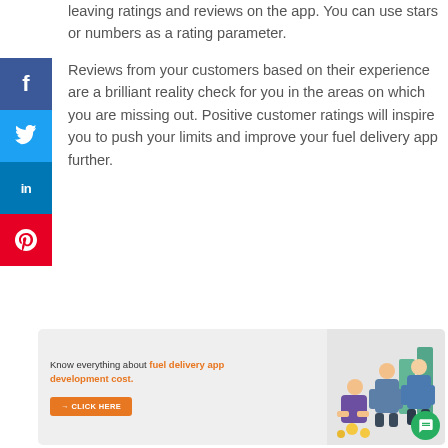leaving ratings and reviews on the app. You can use stars or numbers as a rating parameter.
Reviews from your customers based on their experience are a brilliant reality check for you in the areas on which you are missing out. Positive customer ratings will inspire you to push your limits and improve your fuel delivery app further.
[Figure (infographic): Social media sidebar with Facebook, Twitter, LinkedIn, and Pinterest share buttons on the left side of the page]
[Figure (infographic): Banner ad: Know everything about fuel delivery app development cost. CLICK HERE button. Illustration of people with charts on the right side. Chat button in bottom right corner.]